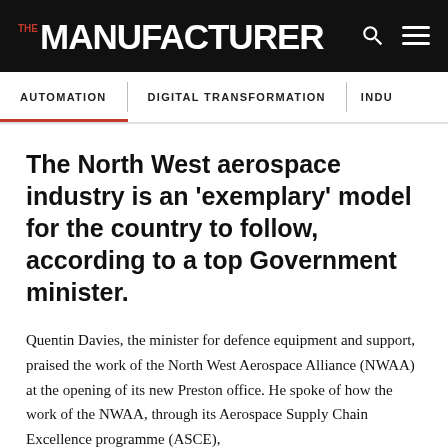THE MANUFACTURER
AUTOMATION   DIGITAL TRANSFORMATION   INDU
The North West aerospace industry is an 'exemplary' model for the country to follow, according to a top Government minister.
Quentin Davies, the minister for defence equipment and support, praised the work of the North West Aerospace Alliance (NWAA) at the opening of its new Preston office. He spoke of how the work of the NWAA, through its Aerospace Supply Chain Excellence programme (ASCE),